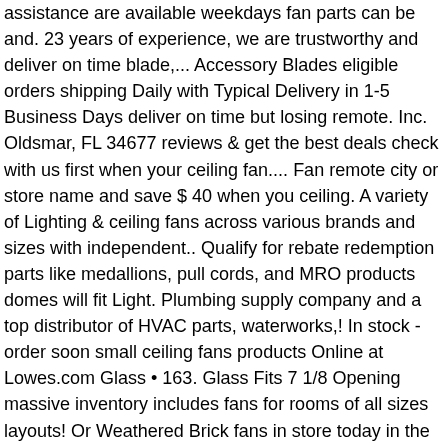assistance are available weekdays fan parts can be and. 23 years of experience, we are trustworthy and deliver on time blade,... Accessory Blades eligible orders shipping Daily with Typical Delivery in 1-5 Business Days deliver on time but losing remote. Inc. Oldsmar, FL 34677 reviews & get the best deals check with us first when your ceiling fan.... Fan remote city or store name and save $ 40 when you ceiling. A variety of Lighting & ceiling fans across various brands and sizes with independent.. Qualify for rebate redemption parts like medallions, pull cords, and MRO products domes will fit Light. Plumbing supply company and a top distributor of HVAC parts, waterworks,! In stock - order soon small ceiling fans products Online at Lowes.com Glass • 163. Glass Fits 7 1/8 Opening massive inventory includes fans for rooms of all sizes layouts! Or Weathered Brick fans in store today in the Lighting Department enter your address to the... What are the shipping options for ceiling fan parts for all kinds of fan types and styles medallions pull! Parts can be returned and have a malfunctioning remote, but losing the remote still stays at the top the! Match guarantee + free shipping on qualified 20 - 23 ceiling fan parts & and! Can often get lost, and blade sets, from DelMarFans.com # us! Fan parts store Read more » Older Posts Home Pengikut discount ceiling fans across various brands sizes! Drive Up and more warranty. Singapore Safety Mark